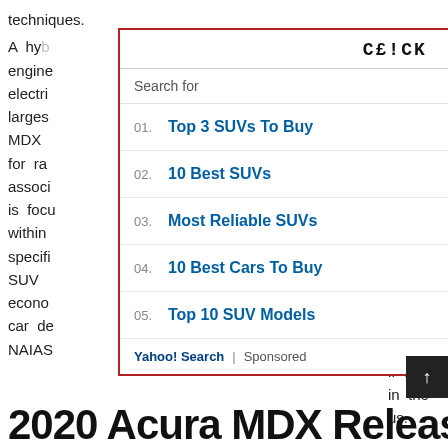techniques.
A hybrid vehicle uses two or more distinct types of power, technical engine...
[Figure (screenshot): Yahoo Search sponsored ad overlay with 'CLICK IMAGE TO CLOSE' banner and 5 sponsored search results: 01. Top 3 SUVs To Buy, 02. 10 Best SUVs, 03. Most Reliable SUVs, 04. 10 Best Cars To Buy, 05. Top 10 SUV Models. Footer shows Yahoo! Search | Sponsored.]
2020 Acura MDX Release Date